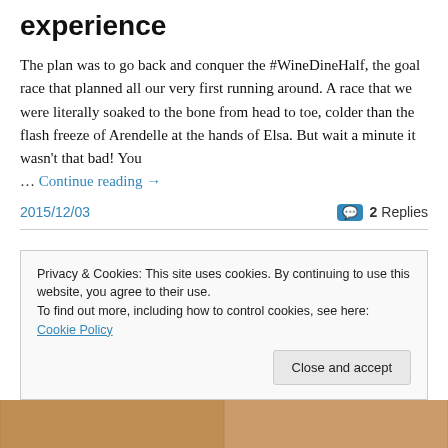experience
The plan was to go back and conquer the #WineDineHalf, the goal race that planned all our very first running around.  A race that we were literally soaked to the bone from head to toe, colder than the flash freeze of Arendelle at the hands of Elsa.  But wait a minute it wasn't that bad!  You … Continue reading →
2015/12/03    💬 2 Replies
Privacy & Cookies: This site uses cookies. By continuing to use this website, you agree to their use.
To find out more, including how to control cookies, see here: Cookie Policy
[Figure (photo): Bottom photo strip showing two side-by-side images of people]